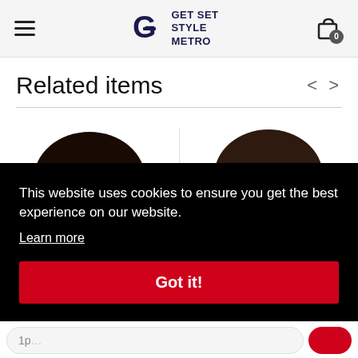[Figure (logo): Get Set Style Metro logo with stylized G icon and text]
Related items
[Figure (photo): Two male models, heads cropped, dark hair, white background]
This website uses cookies to ensure you get the best experience on our website.
Learn more
Got it!